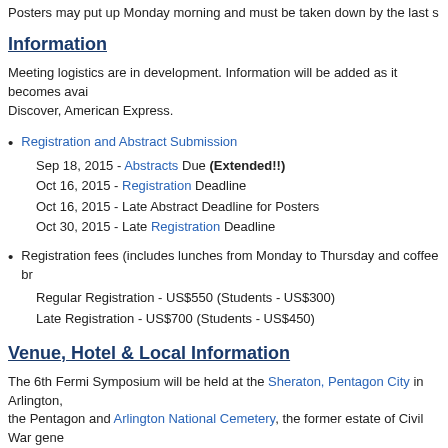Posters may put up Monday morning and must be taken down by the last s
Information
Meeting logistics are in development. Information will be added as it becomes available. Discover, American Express.
Registration and Abstract Submission
Sep 18, 2015 - Abstracts Due (Extended!!)
Oct 16, 2015 - Registration Deadline
Oct 16, 2015 - Late Abstract Deadline for Posters
Oct 30, 2015 - Late Registration Deadline
Registration fees (includes lunches from Monday to Thursday and coffee br
Regular Registration - US$550 (Students - US$300)
Late Registration - US$700 (Students - US$450)
Venue, Hotel & Local Information
The 6th Fermi Symposium will be held at the Sheraton, Pentagon City in Arlington, the Pentagon and Arlington National Cemetery, the former estate of Civil War gene (November 11 th) will occur during the Symposium, there will be a number of memo
The Sheraton room rate is $177 (+tax) per night for a king or double room. Discou staying at the hotel will also be able to purchase breakfast tickets each day of the m that guests who check out prior to their confirmed checkout date are subject to an
The hotel is a 25-minute walk from the Pentagon City metro station, and there is sh